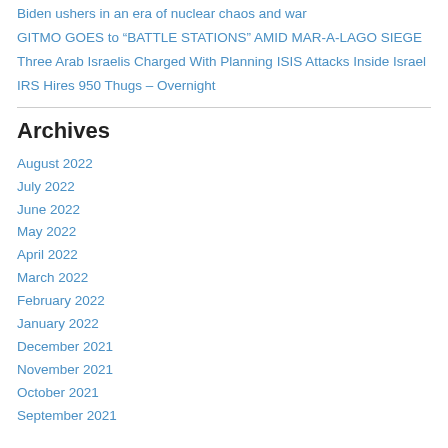Biden ushers in an era of nuclear chaos and war
GITMO GOES to “BATTLE STATIONS” AMID MAR-A-LAGO SIEGE
Three Arab Israelis Charged With Planning ISIS Attacks Inside Israel
IRS Hires 950 Thugs – Overnight
Archives
August 2022
July 2022
June 2022
May 2022
April 2022
March 2022
February 2022
January 2022
December 2021
November 2021
October 2021
September 2021